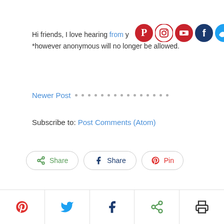Hi friends, I love hearing from you *however anonymous will no longer be allowed.
[Figure (other): Social media icons: Pinterest, Instagram, YouTube, Facebook, Twitter]
Newer Post · · · · · · · · · · · · · · · · ·
Subscribe to: Post Comments (Atom)
[Figure (other): Three share buttons: Share (generic), Share (Facebook), Pin (Pinterest)]
[Figure (other): Translate widget with Select Language dropdown and Powered by Google Translate]
[Figure (other): Bottom bar with Pinterest, Twitter, Facebook, Share, and Print icons]